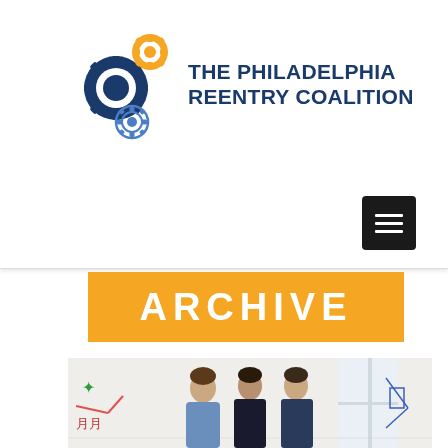[Figure (logo): The Philadelphia Reentry Coalition logo with interlocking gears in gold, dark blue, and light blue, alongside the organization name in dark blue bold text]
[Figure (other): Black square hamburger menu button with three white horizontal lines]
ARCHIVE
[Figure (photo): Three people standing in a bright room with whiteboard drawings on the walls]